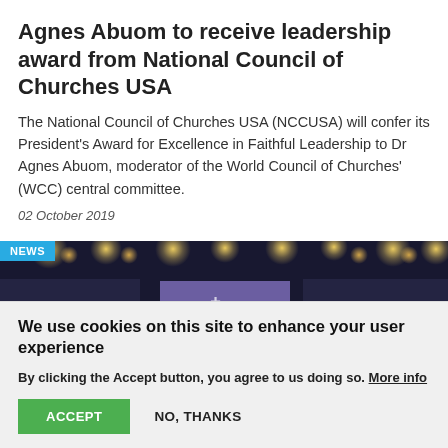Agnes Abuom to receive leadership award from National Council of Churches USA
The National Council of Churches USA (NCCUSA) will confer its President's Award for Excellence in Faithful Leadership to Dr Agnes Abuom, moderator of the World Council of Churches' (WCC) central committee.
02 October 2019
[Figure (photo): Dark stage photo with overhead stage lights and purple illuminated screen/backdrop with a cross symbol visible. A blue 'NEWS' badge is overlaid in the top-left corner.]
We use cookies on this site to enhance your user experience
By clicking the Accept button, you agree to us doing so. More info
ACCEPT   NO, THANKS